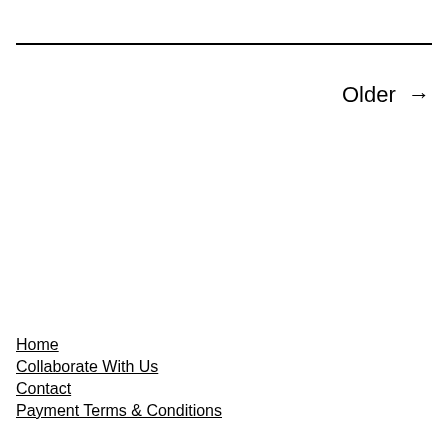Older →
Home
Collaborate With Us
Contact
Payment Terms & Conditions